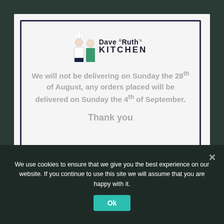[Figure (logo): Dave & Ruth's Kitchen logo with cartoon chef figures and text]
We will not be delivering on Sunday the 28th of August, any orders placed will be delivered on Sunday the 4th of September.
Thank you
We use cookies to ensure that we give you the best experience on our website. If you continue to use this site we will assume that you are happy with it.